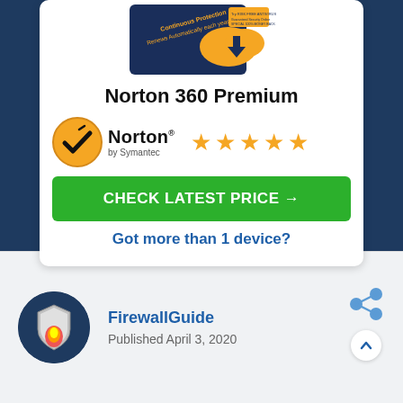[Figure (photo): Norton 360 Premium product box image showing dark blue packaging with gold cloud/download icon and text 'Continuous Protection Renews Automatically each year']
Norton 360 Premium
[Figure (logo): Norton by Symantec logo with yellow circle and checkmark]
[Figure (infographic): 5 gold star rating]
CHECK LATEST PRICE →
Got more than 1 device?
FirewallGuide
Published April 3, 2020